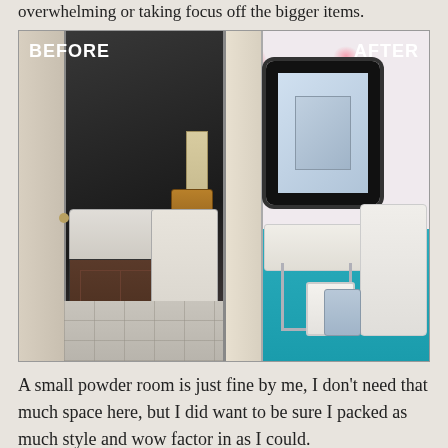overwhelming or taking focus off the bigger items.
[Figure (photo): Side-by-side before and after bathroom renovation photos. BEFORE: dark-walled bathroom with wooden vanity, white sink, toilet, and tile floor. AFTER: bright bathroom with floral wallpaper, teal lower walls, ornate black mirror, pedestal sink, and decorative accessories.]
A small powder room is just fine by me, I don't need that much space here, but I did want to be sure I packed as much style and wow factor in as I could.